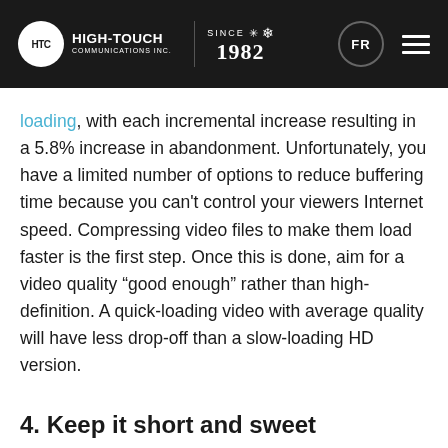HTC HIGH-TOUCH COMMUNICATIONS INC. | SINCE 1982 | FR
loading, with each incremental increase resulting in a 5.8% increase in abandonment. Unfortunately, you have a limited number of options to reduce buffering time because you can't control your viewers Internet speed. Compressing video files to make them load faster is the first step. Once this is done, aim for a video quality “good enough” rather than high-definition. A quick-loading video with average quality will have less drop-off than a slow-loading HD version.
4. Keep it short and sweet